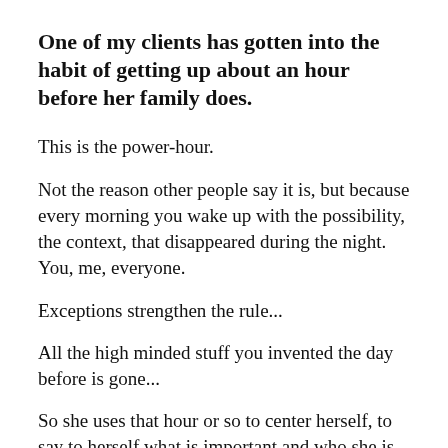One of my clients has gotten into the habit of getting up about an hour before her family does.
This is the power-hour.
Not the reason other people say it is, but because every morning you wake up with the possibility, the context, that disappeared during the night. You, me, everyone.
Exceptions strengthen the rule...
All the high minded stuff you invented the day before is gone...
So she uses that hour or so to center herself, to say to herself what is important and who she is.